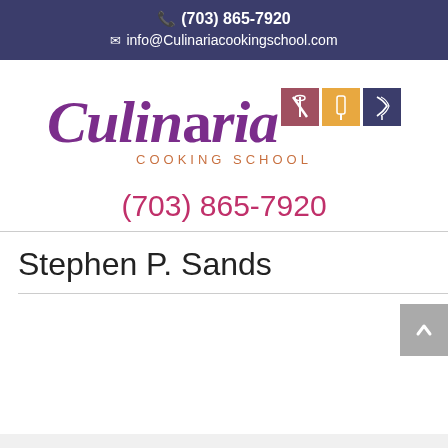(703) 865-7920 | info@Culinariacookingschool.com
[Figure (logo): Culinaria Cooking School logo with three colored squares (mauve, gold, navy) containing kitchen utensil illustrations, and the word Culinaria in purple italic script with COOKING SCHOOL in orange below]
(703) 865-7920
Stephen P. Sands